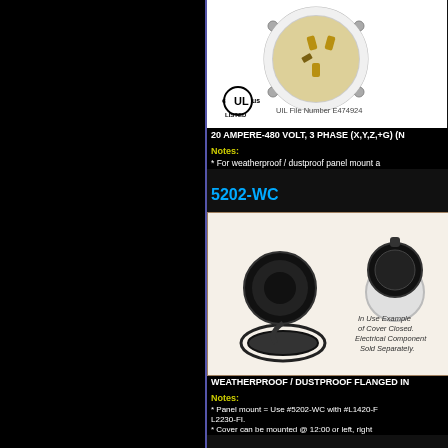[Figure (photo): Flanged inlet plug face with UL listing mark and file number E474924]
20 AMPERE-480 VOLT, 3 PHASE (X,Y,Z,+G) (N...
Notes:
* For weatherproof / dustproof panel mount a...
5202-WC
[Figure (photo): Weatherproof/dustproof flanged inlet cover, shown open and closed. Text: In Use Example of Cover Closed. Electrical Component Sold Separately.]
WEATHERPROOF / DUSTPROOF FLANGED IN...
Notes:
* Panel mount = Use #5202-WC with #L1420-F... L2230-FI.
* Cover can be mounted @ 12:00 or left, right...
L1630-P